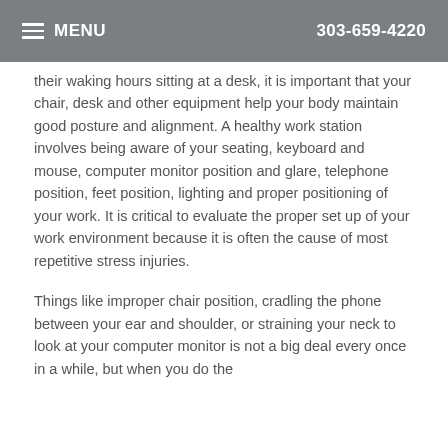MENU  303-659-4220
their waking hours sitting at a desk, it is important that your chair, desk and other equipment help your body maintain good posture and alignment. A healthy work station involves being aware of your seating, keyboard and mouse, computer monitor position and glare, telephone position, feet position, lighting and proper positioning of your work. It is critical to evaluate the proper set up of your work environment because it is often the cause of most repetitive stress injuries.
Things like improper chair position, cradling the phone between your ear and shoulder, or straining your neck to look at your computer monitor is not a big deal every once in a while, but when you do the